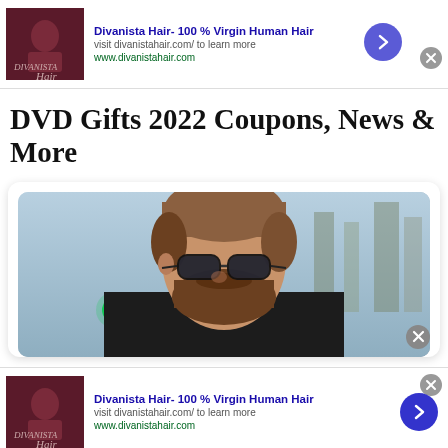[Figure (screenshot): Ad banner for Divanista Hair - 100% Virgin Human Hair with thumbnail, text, arrow button and close button (top)]
DVD Gifts 2022 Coupons, News & More
[Figure (photo): Man with sunglasses and beard facing right, in a card with rounded corners]
[Figure (screenshot): Ad banner for Divanista Hair - 100% Virgin Human Hair with thumbnail, text, arrow button and close button (bottom)]